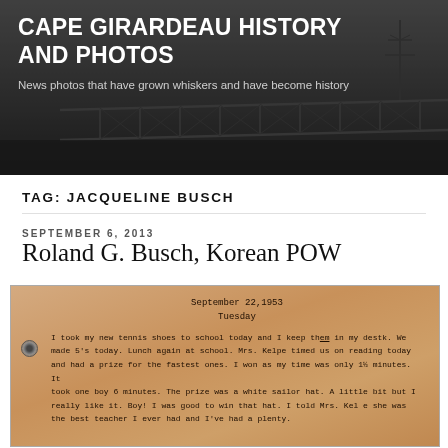CAPE GIRARDEAU HISTORY AND PHOTOS
News photos that have grown whiskers and have become history
TAG: JACQUELINE BUSCH
SEPTEMBER 6, 2013
Roland G. Busch, Korean POW
[Figure (photo): Scanned typewritten document dated September 22, 1953, Tuesday. Text reads: I took my new tennis shoes to school today and I keep them in my destk. We made 5's today. Lunch again at school. Mrs. Kelpe timed us on reading today and had a prize for the fastest ones. I won as my time was only 1½ minutes. It took one boy 6 minutes. The prize was a white sailor hat. A little bit but I really like it. Boy! I was good to win that hat. I told Mrs. Kel e she was the best teacher I ever had and I've had a plenty.]